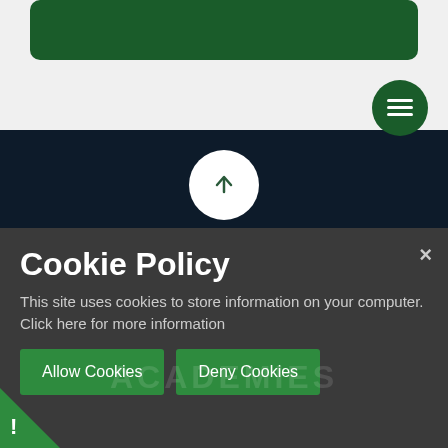[Figure (screenshot): Green rounded rectangle bar at top of page]
[Figure (screenshot): Dark green circle menu button with hamburger icon]
[Figure (screenshot): White circle with upward arrow icon]
[Figure (screenshot): Facebook 'f' icon in muted blue-grey color]
© 2022 Beaver Green Primary School
Website by e4education
Sitemap
High Visibility
Privacy
Cookie Policy
This site uses cookies to store information on your computer. Click here for more information
[Figure (screenshot): Allow Cookies and Deny Cookies green buttons]